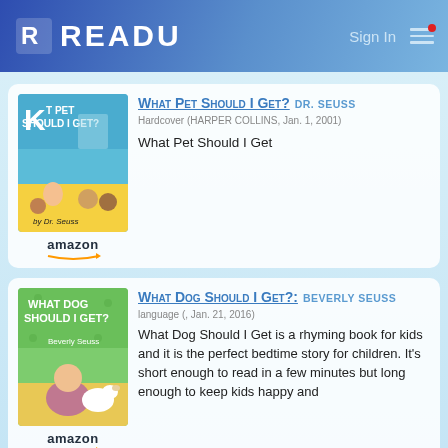READU  Sign In
[Figure (screenshot): Book listing card for 'What Pet Should I Get?' by Dr. Seuss, showing book cover image and Amazon logo]
What Pet Should I Get?  DR. SEUSS
Hardcover (HARPER COLLINS, Jan. 1, 2001)
What Pet Should I Get
[Figure (screenshot): Book listing card for 'What Dog Should I Get?' by Beverly Seuss, showing book cover image and Amazon logo]
What Dog Should I Get?:  BEVERLY SEUSS
language (, Jan. 21, 2016)
What Dog Should I Get is a rhyming book for kids and it is the perfect bedtime story for children. It's short enough to read in a few minutes but long enough to keep kids happy and